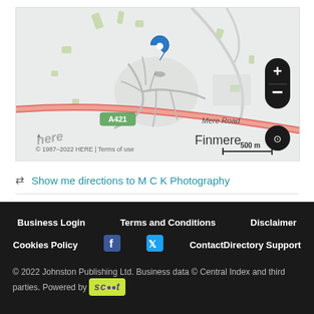[Figure (map): HERE map showing Finmere village area with blue location pin marker, A421 road (red), Mere Road label, scale bar of 500m, zoom controls (+/-) and layer toggle button. Copyright 1987-2022 HERE with Terms of use link.]
Show me directions to M C K Photography
Business Login   Terms and Conditions   Disclaimer   Cookies Policy   ContactDirectory Support   © 2022 Johnston Publishing Ltd. Business data © Central Index and third parties. Powered by scoot